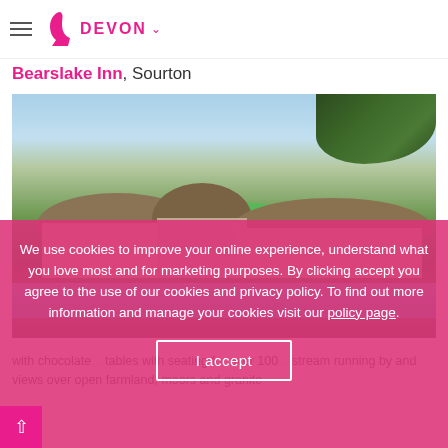DEVON
Bearslake Inn, Sourton
[Figure (photo): Exterior photo of Bearslake Inn, a thatched-roof stone building surrounded by green lawns, trees and a stream running by, with outdoor seating visible]
We use cookies to improve your online experience, understand what you love most and for marketing purposes. By clicking accept you agree to the use of our cookies and privacy policy. To find out more information and manage your cookies visit our policy page.
with chocolate ... tables with seating for over 100 ... stream running by and views over open farmland, moors and granite ...